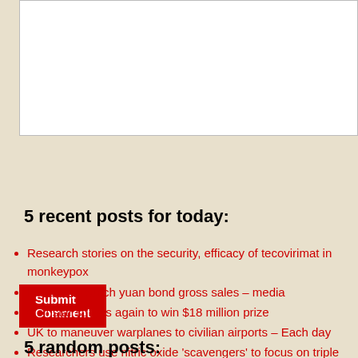[Figure (other): White text input/textarea box for comment submission]
Submit Comment
5 recent posts for today:
Research stories on the security, efficacy of tecovirimat in monkeypox
Russia to launch yuan bond gross sales – media
Golf star surges again to win $18 million prize
UK to maneuver warplanes to civilian airports – Each day
Researchers use nitric oxide 'scavengers' to focus on triple breast most cancers
5 random posts: